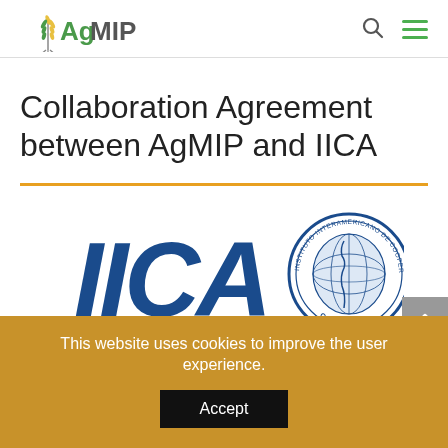AgMIP [logo] | search icon | menu icon
Collaboration Agreement between AgMIP and IICA
[Figure (logo): IICA logo — large blue italic letters 'IICA' with circular seal showing globe and text 'Instituto Interamericano de Cooperacion para la Agricultura OEA', preceded by a horizontal orange dividing line]
This website uses cookies to improve the user experience.
Accept